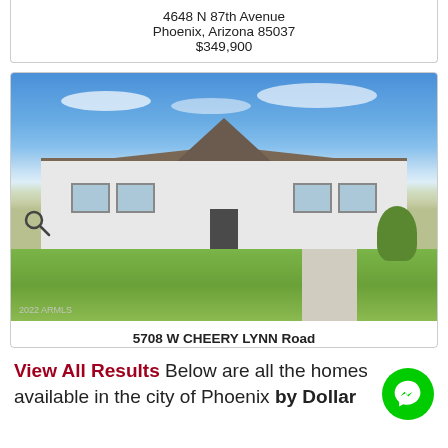4648 N 87th Avenue
Phoenix, Arizona 85037
$349,900
[Figure (photo): Exterior photo of a single-story white ranch-style home with a triangular gable peak at the front entrance, brown roof, green lawn, blue sky with clouds, and a driveway on the right side. Watermark: 2022 ARMLS]
5708 W CHEERY LYNN Road
Phoenix, Arizona 85031
$345,000
View All Results Below are all the homes available in the city of Phoenix by Dollar